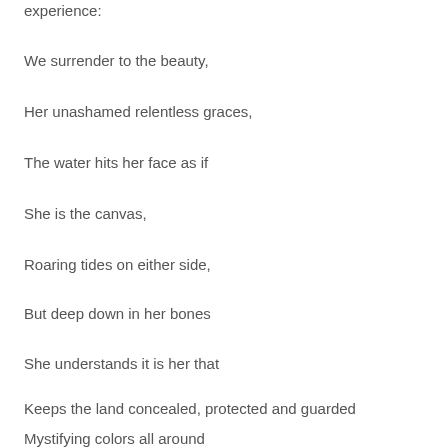experience:
We surrender to the beauty,
Her unashamed relentless graces,
The water hits her face as if
She is the canvas,
Roaring tides on either side,
But deep down in her bones
She understands it is her that
Keeps the land concealed, protected and guarded
Mystifying colors all around